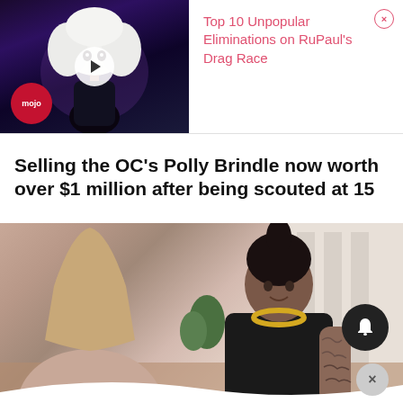[Figure (screenshot): Video thumbnail showing a drag queen performer with large white curly wig and dark outfit on a stage with purple/dark lighting. WatchMojo mojo logo in bottom left corner. White play button in center.]
Top 10 Unpopular Eliminations on RuPaul's Drag Race
Selling the OC's Polly Brindle now worth over $1 million after being scouted at 15
[Figure (photo): Two women sitting at a dinner table. One has long dark hair in a high ponytail, wearing a black top with a gold chain necklace and has tattoos on her arm. A wine glass is visible on the table. The setting appears to be a modern dining room.]